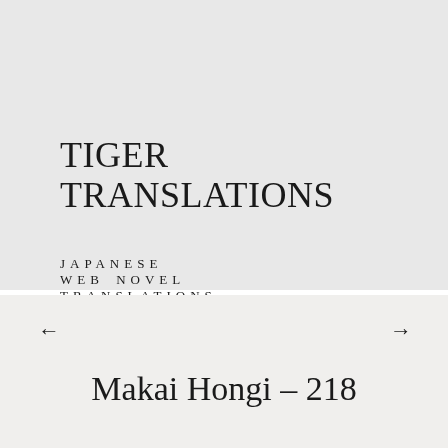TIGER TRANSLATIONS
JAPANESE WEB NOVEL TRANSLATIONS
≡ MENU
Makai Hongi – 218